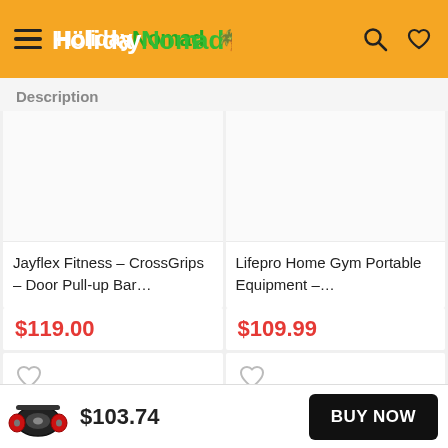HolidayNomad
Description
Jayflex Fitness – CrossGrips – Door Pull-up Bar...
$119.00
Lifepro Home Gym Portable Equipment –...
$109.99
$103.74
BUY NOW